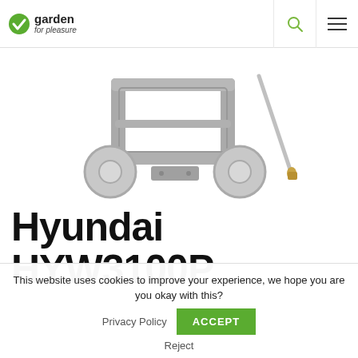garden for pleasure
[Figure (photo): Partial view of a Hyundai HYW3100P pressure washer showing the metal frame, wheels, and spray lance tip against a white background.]
Hyundai HYW3100P
This website uses cookies to improve your experience, we hope you are you okay with this?  Privacy Policy  ACCEPT  Reject